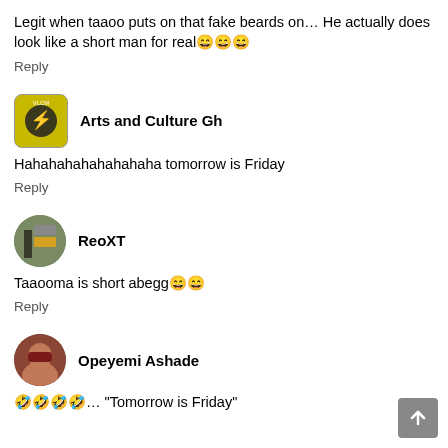Legit when taaoo puts on that fake beards on… He actually does look like a short man for real😄😄😄
Reply
Arts and Culture Gh
Hahahahahahahahaha tomorrow is Friday
Reply
ReoXT
Taaooma is short abegg😄😄
Reply
Opeyemi Ashade
🤣🤣🤣🤣… "Tomorrow is Friday"